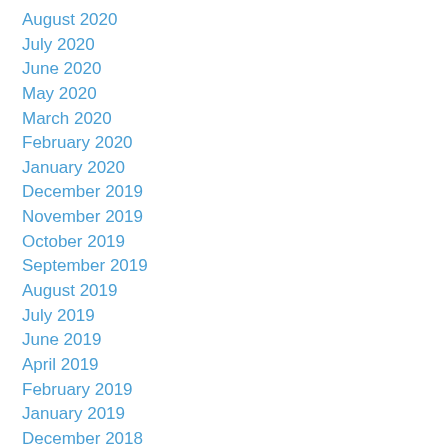August 2020
July 2020
June 2020
May 2020
March 2020
February 2020
January 2020
December 2019
November 2019
October 2019
September 2019
August 2019
July 2019
June 2019
April 2019
February 2019
January 2019
December 2018
November 2018
October 2018